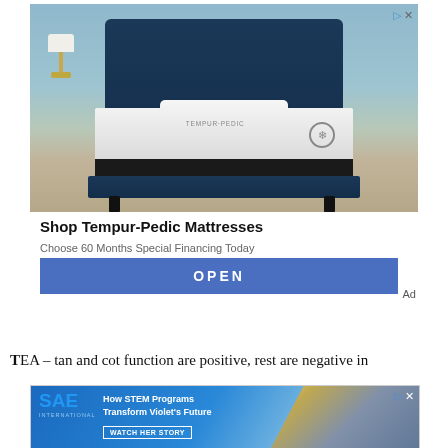[Figure (photo): Tempur-Pedic mattress advertisement showing a bedroom scene with a navy blue upholstered bed frame, white mattress with Tempur-Pedic branding, white pillows, lamp and side tables in a blue-toned room]
Shop Tempur-Pedic Mattresses
Choose 60 Months Special Financing Today
OPEN
Ad
TEA – tan and cot function are positive, rest are negative in
[Figure (photo): SAE International advertisement: How STEM Programs Transform Violet's Future, WATCH HER STORY, showing a young girl with building blocks]